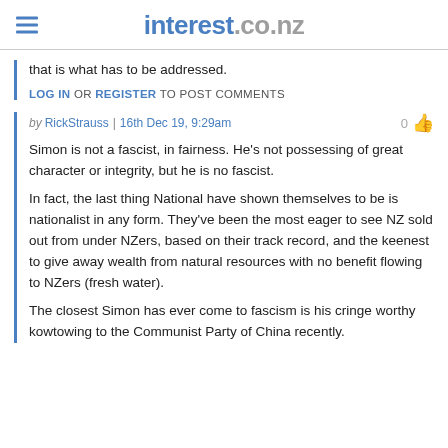interest.co.nz
that is what has to be addressed.
LOG IN OR REGISTER TO POST COMMENTS
by RickStrauss | 16th Dec 19, 9:29am    0
Simon is not a fascist, in fairness. He's not possessing of great character or integrity, but he is no fascist.
In fact, the last thing National have shown themselves to be is nationalist in any form. They've been the most eager to see NZ sold out from under NZers, based on their track record, and the keenest to give away wealth from natural resources with no benefit flowing to NZers (fresh water).
The closest Simon has ever come to fascism is his cringe worthy kowtowing to the Communist Party of China recently.